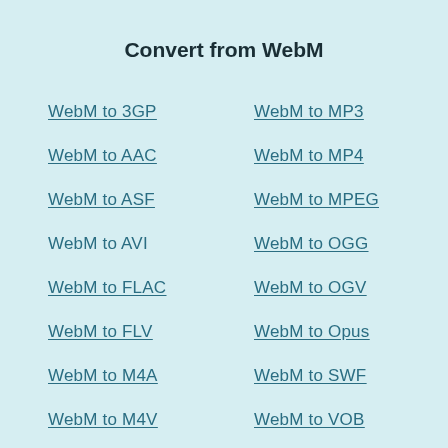Convert from WebM
WebM to 3GP
WebM to MP3
WebM to AAC
WebM to MP4
WebM to ASF
WebM to MPEG
WebM to AVI
WebM to OGG
WebM to FLAC
WebM to OGV
WebM to FLV
WebM to Opus
WebM to M4A
WebM to SWF
WebM to M4V
WebM to VOB